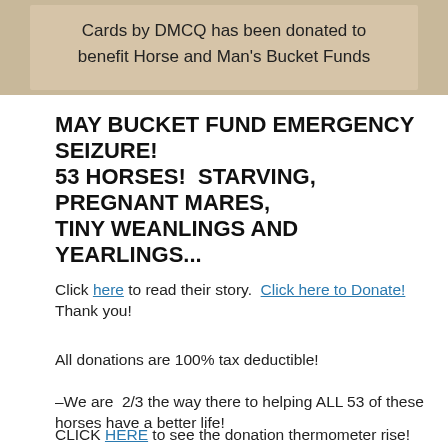[Figure (photo): A photo showing a sign/banner text that reads 'Cards by DMCQ has been donated to benefit Horse and Man's Bucket Funds' on a light beige/tan background.]
MAY BUCKET FUND EMERGENCY SEIZURE! 53 HORSES!  STARVING, PREGNANT MARES, TINY WEANLINGS AND YEARLINGS...
Click here to read their story.  Click here to Donate!  Thank you!
All donations are 100% tax deductible!
–We are  2/3 the way there to helping ALL 53 of these horses have a better life!
CLICK HERE to see the donation thermometer rise!